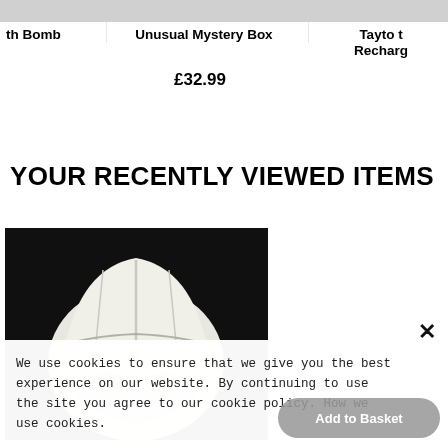th Bomb
Unusual Mystery Box
Tayto t Recharg
£32.99
YOUR RECENTLY VIEWED ITEMS
[Figure (photo): Close-up photo of a white Stormtrooper helmet against a dark/black background]
We use cookies to ensure that we give you the best experience on our website. By continuing to use the site you agree to our cookie policy. How we use cookies.
Add to Basket